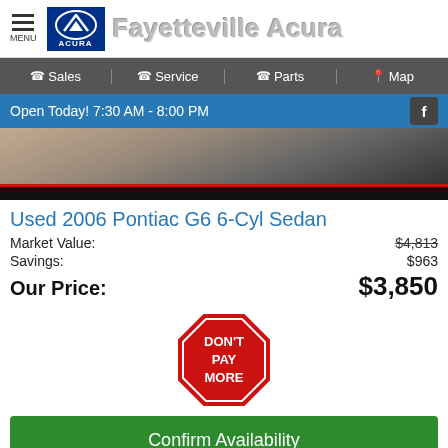Fayetteville Acura
Sales  Service  Parts  Map
Open Today! 7:30 AM - 8:00 PM
[Figure (photo): Partial view of used car rear/wheel area]
Used 2006 Pontiac G6 6-Cyl Sedan
Market Value: $4,813
Savings: $963
Our Price: $3,850
[Figure (illustration): Stop sign badge with text: DON'T PAY MORE]
Confirm Availability
CarStory